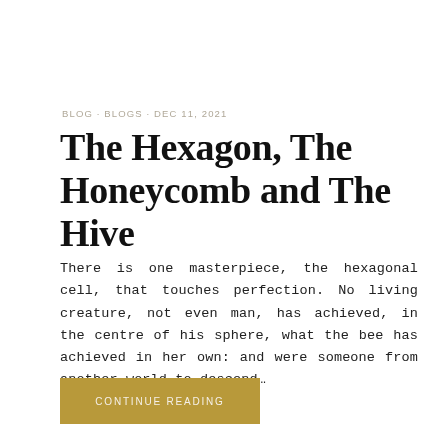BLOG · BLOGS · DEC 11, 2021
The Hexagon, The Honeycomb and The Hive
There is one masterpiece, the hexagonal cell, that touches perfection. No living creature, not even man, has achieved, in the centre of his sphere, what the bee has achieved in her own: and were someone from another world to descend…
CONTINUE READING